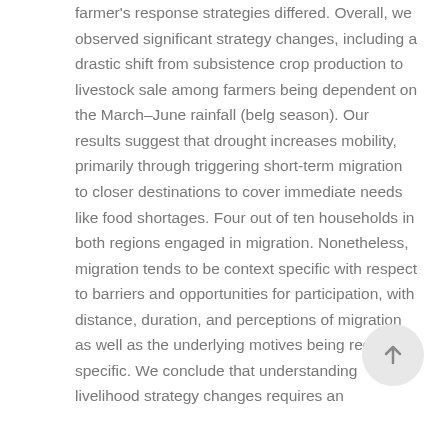farmer's response strategies differed. Overall, we observed significant strategy changes, including a drastic shift from subsistence crop production to livestock sale among farmers being dependent on the March–June rainfall (belg season). Our results suggest that drought increases mobility, primarily through triggering short-term migration to closer destinations to cover immediate needs like food shortages. Four out of ten households in both regions engaged in migration. Nonetheless, migration tends to be context specific with respect to barriers and opportunities for participation, with distance, duration, and perceptions of migration as well as the underlying motives being region-specific. We conclude that understanding livelihood strategy changes requires an